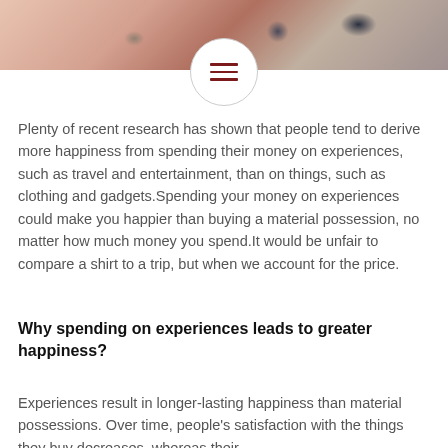[Figure (photo): Blurred food/travel photograph used as banner image at the top of the article page]
Plenty of recent research has shown that people tend to derive more happiness from spending their money on experiences, such as travel and entertainment, than on things, such as clothing and gadgets.Spending your money on experiences could make you happier than buying a material possession, no matter how much money you spend.It would be unfair to compare a shirt to a trip, but when we account for the price.
Why spending on experiences leads to greater happiness?
Experiences result in longer-lasting happiness than material possessions. Over time, people's satisfaction with the things they buy decreases, whereas their